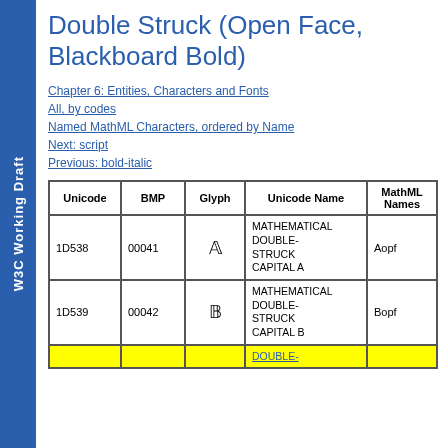W3C Working Draft
Double Struck (Open Face, Blackboard Bold)
Chapter 6: Entities, Characters and Fonts
All, by codes
Named MathML Characters, ordered by Name
Next: script
Previous: bold-italic
| Unicode | BMP | Glyph | Unicode Name | MathML Names |
| --- | --- | --- | --- | --- |
| 1D538 | 00041 | 𝔸 | MATHEMATICAL DOUBLE-STRUCK CAPITAL A | Aopf |
| 1D539 | 00042 | 𝔹 | MATHEMATICAL DOUBLE-STRUCK CAPITAL B | Bopf |
|  |  |  | DOUBLE- |  |